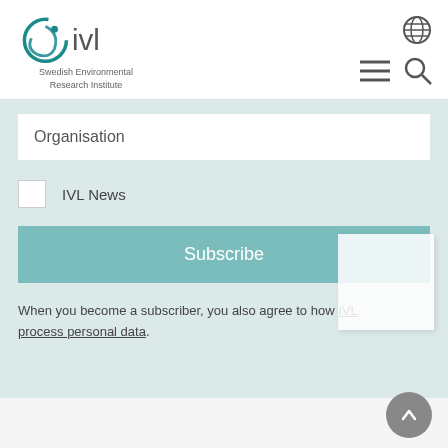[Figure (logo): IVL Swedish Environmental Research Institute logo with circular teal graphic and text]
Organisation
IVL News
Subscribe
When you become a subscriber, you also agree to how IVL process personal data.